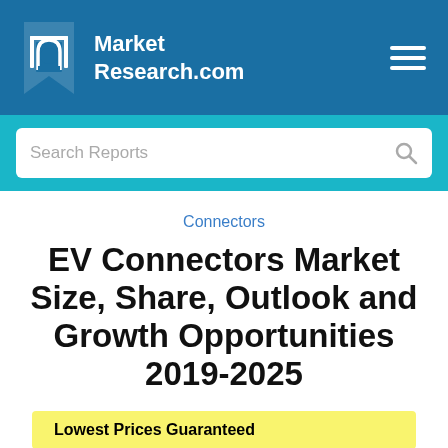Market Research.com
Search Reports
Connectors
EV Connectors Market Size, Share, Outlook and Growth Opportunities 2019-2025
Lowest Prices Guaranteed
Price from $4,580